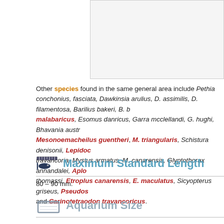[Figure (other): Partial image/box visible in upper right area — appears to be a photograph or illustration cropped at the edge of the page]
Other species found in the same general area include Pethia conchonius, fasciata, Dawkinsia arulius, D. assimilis, D. filamentosa, Barilius bakeri, B. malabaricus, Esomus danricus, Garra mcclellandi, G. hughi, Bhavania austr Mesonoemacheilus guentheri, M. triangularis, Schistura denisonii, Lepidoc travancoria, Mystus armatus, M. canarensis, Glyptothorax annandalei, Aplo thomassi, Etroplus canarensis, E. maculatus, Sicyopterus griseus, Pseudos and Carinotetraodon travancoricus.
Maximum Standard Length
80 – 90 mm.
Aquarium Size